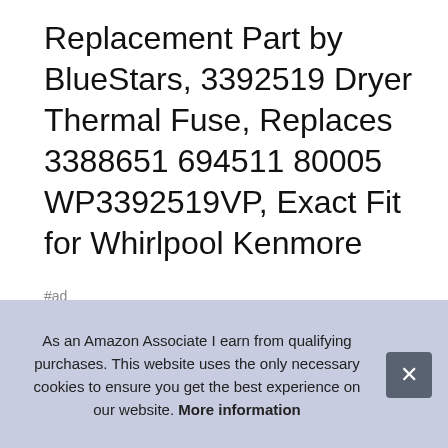Replacement Part by BlueStars, 3392519 Dryer Thermal Fuse, Replaces 3388651 694511 80005 WP3392519VP, Exact Fit for Whirlpool Kenmore
#ad
[Figure (photo): Four product thumbnail images showing the BlueStars dryer thermal fuse from different angles and marketing perspectives: 1) White background showing fuse component with text 'Work Like A Charm', 2) Black background showing premium quality fuse, 3) Black background with 'WIDE RANGE COMPATIBILITY' text, 4) Dark background showing packaging]
BlueStars
top
As an Amazon Associate I earn from qualifying purchases. This website uses the only necessary cookies to ensure you get the best experience on our website. More information